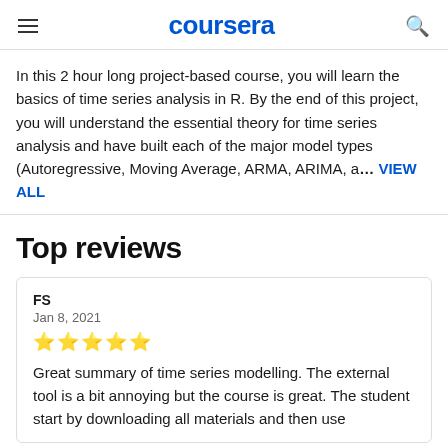coursera
In this 2 hour long project-based course, you will learn the basics of time series analysis in R. By the end of this project, you will understand the essential theory for time series analysis and have built each of the major model types (Autoregressive, Moving Average, ARMA, ARIMA, a… VIEW ALL
Top reviews
FS
Jan 8, 2021
★★★★★
Great summary of time series modelling. The external tool is a bit annoying but the course is great. The student start by downloading all materials and then use